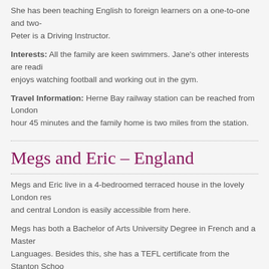She has been teaching English to foreign learners on a one-to-one and two- Peter is a Driving Instructor.
Interests: All the family are keen swimmers. Jane's other interests are readi enjoys watching football and working out in the gym.
Travel Information: Herne Bay railway station can be reached from London hour 45 minutes and the family home is two miles from the station.
Megs and Eric – England
Megs and Eric live in a 4-bedroomed terraced house in the lovely London res and central London is easily accessible from here.
Megs has both a Bachelor of Arts University Degree in French and a Master Languages. Besides this, she has a TEFL certificate from the Stanton Schoo in Marketing. Her teaching career encompasses language teaching in prima years of teaching English as a Foreign Language on a one-to-one basis. She of working in commerce. Eric is a qualified chartered accountant and works i